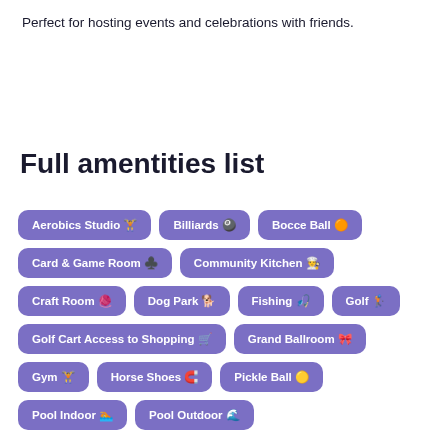Perfect for hosting events and celebrations with friends.
Full amentities list
Aerobics Studio 🏋
Billiards 🎱
Bocce Ball 🟠
Card & Game Room ♣
Community Kitchen 👨‍🍳
Craft Room 🧶
Dog Park 🐕
Fishing 🎣
Golf 🏌
Golf Cart Access to Shopping 🛒
Grand Ballroom 🎀
Gym 🏋
Horse Shoes 🧲
Pickle Ball 🟡
Pool Indoor 🏊
Pool Outdoor 🌊